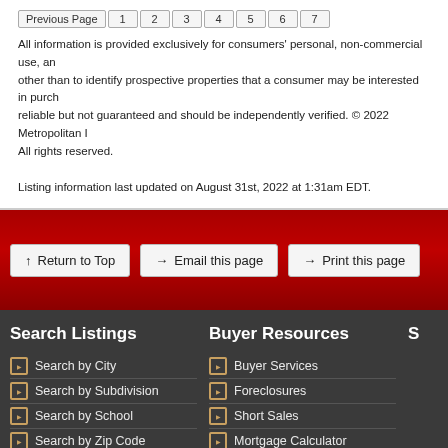Previous Page | 1 | 2 | 3 | 4 | 5 | 6 | 7
All information is provided exclusively for consumers' personal, non-commercial use, and may not be used for any purpose other than to identify prospective properties that a consumer may be interested in purchasing. Information is deemed reliable but not guaranteed and should be independently verified. © 2022 Metropolitan Indianapolis Board of REALTORS®. All rights reserved.

Listing information last updated on August 31st, 2022 at 1:31am EDT.
↑ Return to Top   → Email this page   → Print this page
Search Listings
Search by City
Search by Subdivision
Search by School
Search by Zip Code
Search by MLS Number
Search by Map
Buyer Resources
Buyer Services
Foreclosures
Short Sales
Mortgage Calculator
Contact